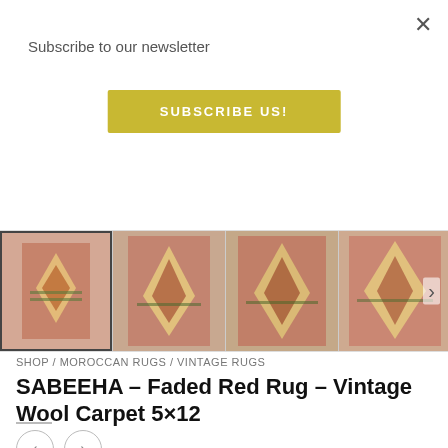Subscribe to our newsletter
SUBSCRIBE US!
[Figure (photo): Four thumbnail images of a faded red Moroccan vintage wool rug (SABEEHA, 5x12), shown from different angles and distances.]
SHOP / MOROCCAN RUGS / VINTAGE RUGS
SABEEHA – Faded Red Rug – Vintage Wool Carpet 5×12
‹  ›
$1,500.00  $1,125.00
Only 1 items left in stock